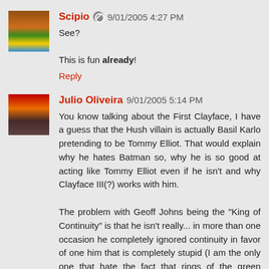Scipio 9/01/2005 4:27 PM
See?

This is fun already!
Reply
Julio Oliveira 9/01/2005 5:14 PM
You know talking about the First Clayface, I have a guess that the Hush villain is actually Basil Karlo pretending to be Tommy Elliot. That would explain why he hates Batman so, why he is so good at acting like Tommy Elliot even if he isn't and why Clayface III(?) works with him.

The problem with Geoff Johns being the "King of Continuity" is that he isn't really... in more than one occasion he completely ignored continuity in favor of one him that is completely stupid (I am the only one that hate the fact that rings of the green lanterns are now animated by the exposition fairy like some sort of twisted Pinocchio?)